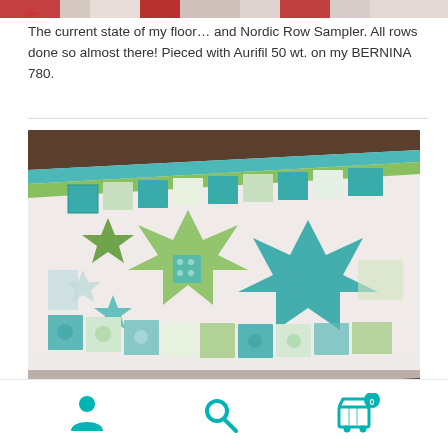[Figure (photo): Top partial view of a quilt with red and green Christmas fabric patterns on a floor]
The current state of my floor… and Nordic Row Sampler.  All rows done so almost there!  Pieced with Aurifil 50 wt. on my BERNINA 780.
[Figure (photo): Close-up photograph of a Nordic Row Sampler quilt laid on a floor, featuring teal, green, and white patchwork blocks with star patterns and various Nordic-inspired fabric prints]
[Figure (infographic): Mobile website footer navigation bar with three icons: user/account icon, search magnifying glass icon, and shopping cart icon with a teal badge showing 0]